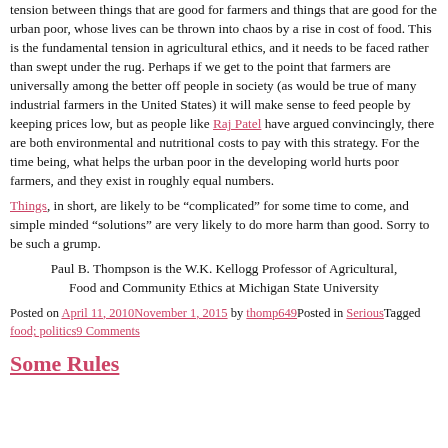tension between things that are good for farmers and things that are good for the urban poor, whose lives can be thrown into chaos by a rise in cost of food. This is the fundamental tension in agricultural ethics, and it needs to be faced rather than swept under the rug. Perhaps if we get to the point that farmers are universally among the better off people in society (as would be true of many industrial farmers in the United States) it will make sense to feed people by keeping prices low, but as people like Raj Patel have argued convincingly, there are both environmental and nutritional costs to pay with this strategy. For the time being, what helps the urban poor in the developing world hurts poor farmers, and they exist in roughly equal numbers.
Things, in short, are likely to be “complicated” for some time to come, and simple minded “solutions” are very likely to do more harm than good. Sorry to be such a grump.
Paul B. Thompson is the W.K. Kellogg Professor of Agricultural, Food and Community Ethics at Michigan State University
Posted on April 11, 2010November 1, 2015 by thomp649Posted in Serious Tagged food; politics 9 Comments
Some Rules